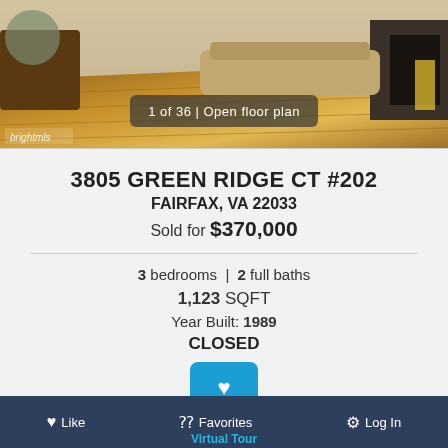[Figure (photo): Interior photo of a home showing hardwood floors, living room area with fireplace visible on the right side. Photo shows '1 of 36 | Open floor plan' overlay badge and 'brightmls' watermark.]
3805 GREEN RIDGE CT #202
FAIRFAX, VA 22033
Sold for $370,000
3 bedrooms | 2 full baths
1,123 SQFT
Year Built: 1989
CLOSED
Like
Request More Information
Like  Favorites  Log In  Virtual Tour